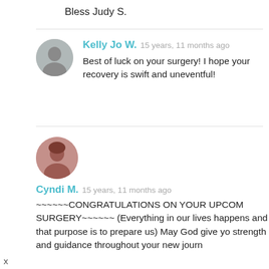Bless Judy S.
Kelly Jo W. 15 years, 11 months ago
Best of luck on your surgery! I hope your recovery is swift and uneventful!
Cyndi M. 15 years, 11 months ago
~~~~~~CONGRATULATIONS ON YOUR UPCOM SURGERY~~~~~~ (Everything in our lives happens and that purpose is to prepare us) May God give yo strength and guidance throughout your new journ